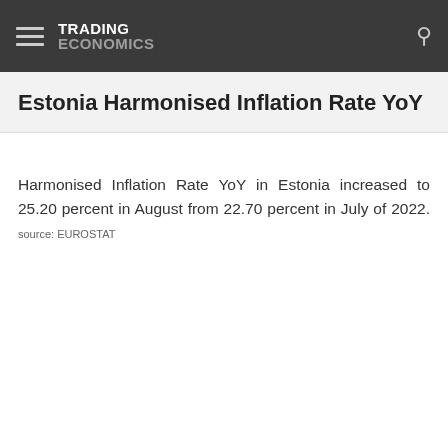TRADING ECONOMICS
Estonia Harmonised Inflation Rate YoY
Harmonised Inflation Rate YoY in Estonia increased to 25.20 percent in August from 22.70 percent in July of 2022. source: EUROSTAT